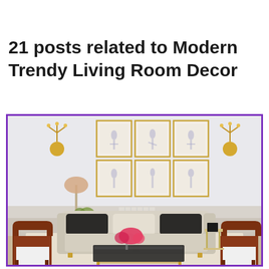21 posts related to Modern Trendy Living Room Decor
[Figure (photo): A modern elegant living room interior with a white upholstered sofa, two dark wood armchairs with white seat cushions, a glass-top coffee table with pink flower arrangement, a floor lamp, a side table with a vase of green flowers, six gold-framed figure drawings arranged in a 2x3 grid on the wall, two gold wall sconces, and a light gray color palette.]